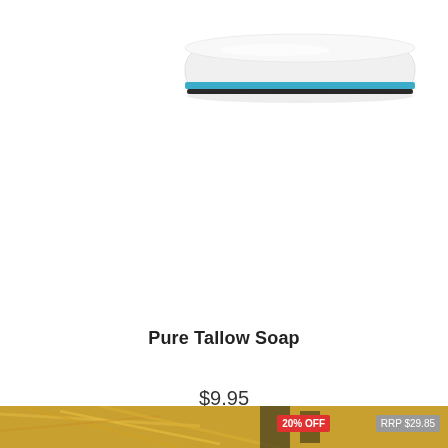[Figure (photo): A rectangular bar of white soap with a blue and dark stripe along the bottom edge, viewed from an angle. Product appears to be Pure Tallow Soap.]
Pure Tallow Soap
$9.95
Add to Cart
[Figure (photo): Partial bottom strip showing a food/pasta product image with a red '20% OFF' badge and a grey 'RRP $29.85' badge.]